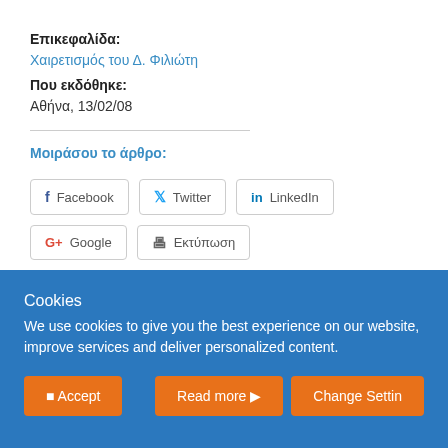Επικεφαλίδα: Χαιρετισμός του Δ. Φιλιώτη
Που εκδόθηκε: Αθήνα, 13/02/08
Μοιράσου το άρθρο:
Facebook  Twitter  LinkedIn  Google  Εκτύπωση
Cookies
We use cookies to give you the best experience on our website, improve services and deliver personalized content.
Accept  Read more  Change Settings